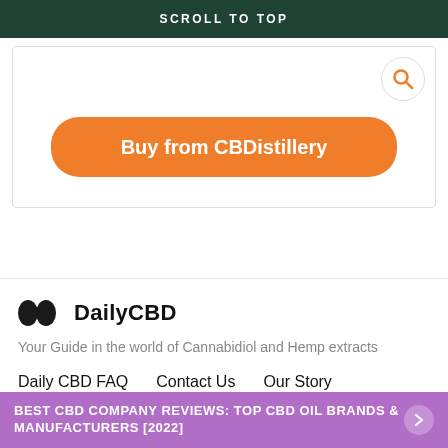SCROLL TO TOP
[Figure (screenshot): Search bar with orange search icon circle in top right corner]
Buy from CBDistillery
[Figure (logo): DailyCBD logo with two dark circular icons and bold text]
Your Guide in the world of Cannabidiol and Hemp extracts
Daily CBD FAQ   Contact Us   Our Story
BEST CBD COMPANY REVIEWS: TOP CBD OIL BRANDS & MANUFACTURERS [2022]